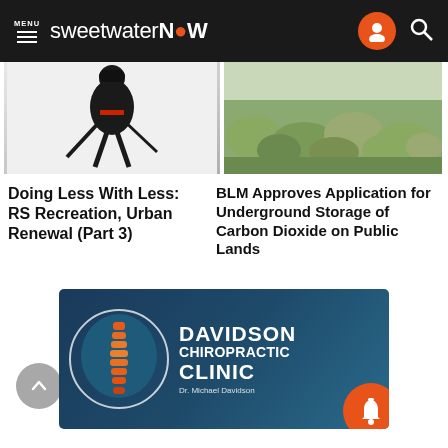MENU sweetwaterNOW
[Figure (photo): Hockey player skiing/skating with sticks on a light background]
[Figure (photo): Outdoor landscape with scrub brush/sagebrush vegetation]
Doing Less With Less: RS Recreation, Urban Renewal (Part 3)
BLM Approves Application for Underground Storage of Carbon Dioxide on Public Lands
[Figure (illustration): Davidson Chiropractic Clinic advertisement banner with spine illustration and text: DAVIDSON CHIROPRACTIC CLINIC, Dr. Michael Davidson]